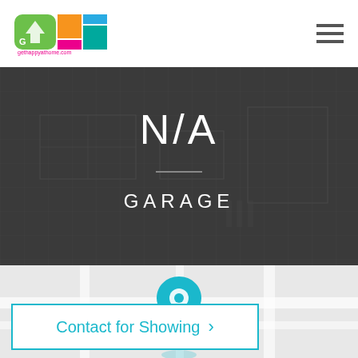[Figure (logo): Colorful GHAH (Get Happy at Home) logo with multi-colored house shapes and text 'gethappyathome.com']
N/A
GARAGE
[Figure (map): Light grey map background with a teal location pin marker]
Contact for Showing >